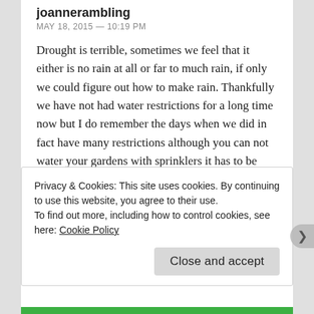joannerambling
MAY 18, 2015 — 10:19 PM
Drought is terrible, sometimes we feel that it either is no rain at all or far to much rain, if only we could figure out how to make rain. Thankfully we have not had water restrictions for a long time now but I do remember the days when we did in fact have many restrictions although you can not water your gardens with sprinklers it has to be either a watering can or a hand held hose.
★  Like
Privacy & Cookies: This site uses cookies. By continuing to use this website, you agree to their use.
To find out more, including how to control cookies, see here: Cookie Policy
Close and accept